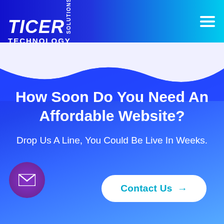[Figure (logo): Ticer Technology Solutions logo — white bold italic TICER with SOLUTIONS vertical text and TECHNOLOGY below, on blue-to-cyan gradient nav bar]
[Figure (infographic): Wave-shaped white-to-blue divider between header and main content area]
How Soon Do You Need An Affordable Website?
Drop Us A Line, You Could Be Live In Weeks.
[Figure (illustration): Purple circular email/envelope icon button on the bottom left]
[Figure (other): White rounded pill-shaped Contact Us button with cyan arrow on bottom center]